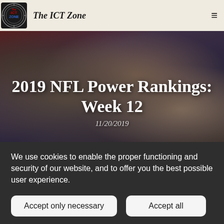The ICT Zone
[Figure (photo): NFL players celebrating on a football field, used as a hero banner background image]
2019 NFL Power Rankings: Week 12
11/20/2019
We use cookies to enable the proper functioning and security of our website, and to offer you the best possible user experience.
Accept only necessary
Accept all